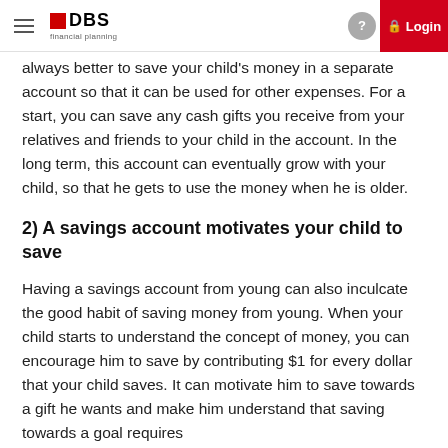DBS financial planning — Login
always better to save your child's money in a separate account so that it can be used for other expenses. For a start, you can save any cash gifts you receive from your relatives and friends to your child in the account. In the long term, this account can eventually grow with your child, so that he gets to use the money when he is older.
2) A savings account motivates your child to save
Having a savings account from young can also inculcate the good habit of saving money from young. When your child starts to understand the concept of money, you can encourage him to save by contributing $1 for every dollar that your child saves. It can motivate him to save towards a gift he wants and make him understand that saving towards a goal requires